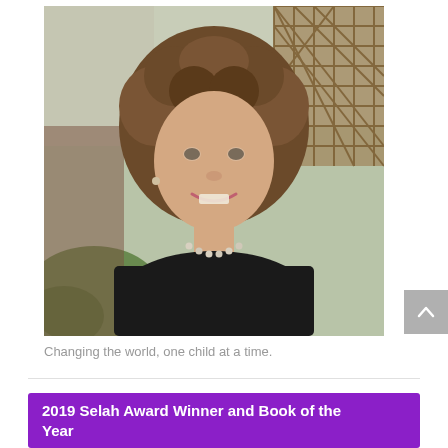[Figure (photo): Portrait photo of a woman with curly brown hair, smiling, wearing a black top and a pearl necklace, photographed outdoors in front of a building and lattice.]
Changing the world, one child at a time.
2019 Selah Award Winner and Book of the Year